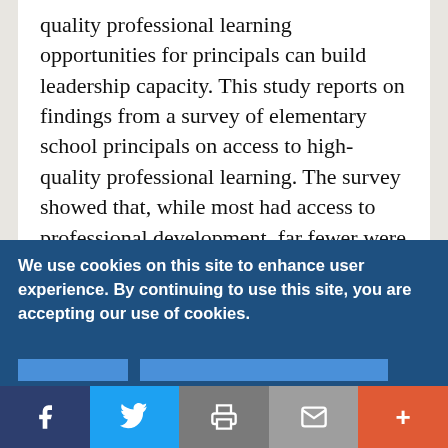quality professional learning opportunities for principals can build leadership capacity. This study reports on findings from a survey of elementary school principals on access to high-quality professional learning. The survey showed that, while most had access to professional development, far fewer were able to participate in authentic learning opportunities addressing deeper learning, student well-being, and equity.
We use cookies on this site to enhance user experience. By continuing to use this site, you are accepting our use of cookies.
[Figure (other): Social sharing bar with Facebook, Twitter, Print, Email, and More (+) buttons]